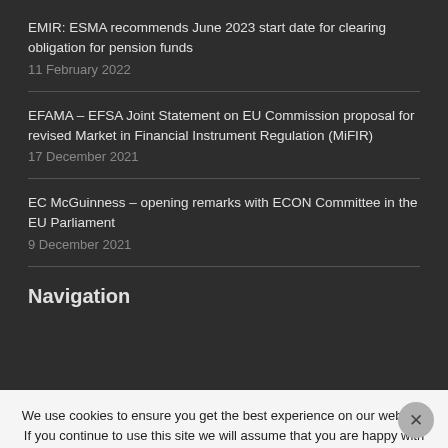EMIR: ESMA recommends June 2023 start date for clearing obligation for pension funds
11 February 2022
EFAMA – EFSA Joint Statement on EU Commission proposal for revised Market in Financial Instrument Regulation (MiFIR)
17 December 2021
EC McGuinness – opening remarks with ECON Committee in the EU Parliament
9 December 2021
Navigation
Home
About us
Members
Our role
We use cookies to ensure you get the best experience on our website. If you continue to use this site we will assume that you are happy with it.